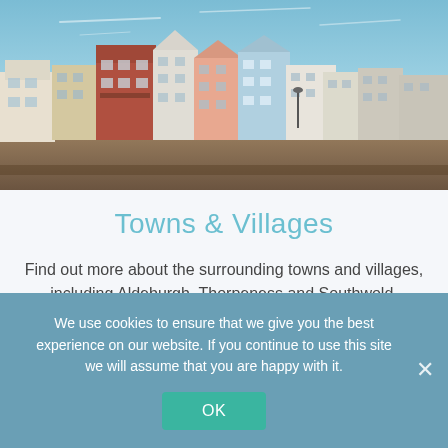[Figure (photo): Panoramic photo of colourful seaside terraced houses and buildings along a shingle beach under a blue sky, depicting a Suffolk coastal town such as Aldeburgh.]
Towns & Villages
Find out more about the surrounding towns and villages, including Aldeburgh, Thorpeness and Southwold.
We use cookies to ensure that we give you the best experience on our website. If you continue to use this site we will assume that you are happy with it.